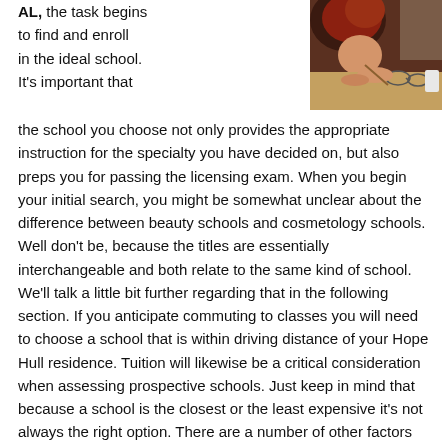AL, the task begins to find and enroll in the ideal school. It's important that
[Figure (photo): Close-up photo of a cosmetology student with red hair being instructed or working at a table with glasses and supplies visible]
the school you choose not only provides the appropriate instruction for the specialty you have decided on, but also preps you for passing the licensing exam. When you begin your initial search, you might be somewhat unclear about the difference between beauty schools and cosmetology schools. Well don't be, because the titles are essentially interchangeable and both relate to the same kind of school. We'll talk a little bit further regarding that in the following section. If you anticipate commuting to classes you will need to choose a school that is within driving distance of your Hope Hull residence. Tuition will likewise be a critical consideration when assessing prospective schools. Just keep in mind that because a school is the closest or the least expensive it's not always the right option. There are a number of other factors that you should weigh when analyzing